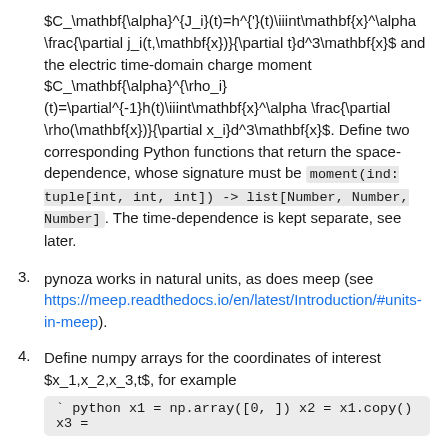$C_\mathbf{\alpha}^{J_i}(t)=h^{'}(t)\iiint\mathbf{x}^\alpha \frac{\partial j_i(t,\mathbf{x})}{\partial t}d^3\mathbf{x}$ and the electric time-domain charge moment $C_\mathbf{\alpha}^{\rho_i}(t)=\partial^{-1}h(t)\iiint\mathbf{x}^\alpha \frac{\partial \rho(\mathbf{x})}{\partial x_i}d^3\mathbf{x}$. Define two corresponding Python functions that return the space-dependence, whose signature must be moment(ind: tuple[int, int, int]) -> list[Number, Number, Number]. The time-dependence is kept separate, see later.
3. pynoza works in natural units, as does meep (see https://meep.readthedocs.io/en/latest/Introduction/#units-in-meep).
4. Define numpy arrays for the coordinates of interest $x_1,x_2,x_3,t$, for example
` python x1 = np.array([0, ]) x2 = x1.copy() x3 =